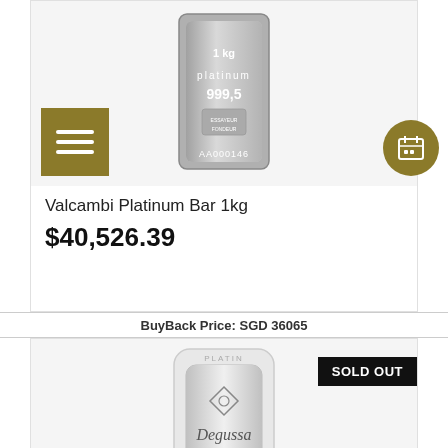[Figure (photo): Valcambi platinum bar 1kg product image, dark metallic bar with '1kg platinum 999,5 AA000146' text, shown in product card with gold menu icon]
Valcambi Platinum Bar 1kg
$40,526.39
BuyBack Price: SGD 36065
[Figure (photo): Degussa platinum bar 100g product image in white plastic holder labeled PLATIN, with Degussa logo, PLATIN 999,5, 100g. SOLD OUT badge shown.]